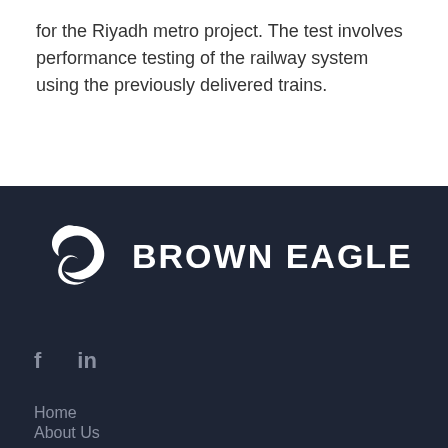for the Riyadh metro project. The test involves performance testing of the railway system using the previously delivered trains.
[Figure (logo): Brown Eagle company logo — a white stylized eagle/swirl icon on dark navy background, with the text 'BROWN EAGLE' in bold white uppercase letters]
f   in
Home
About Us